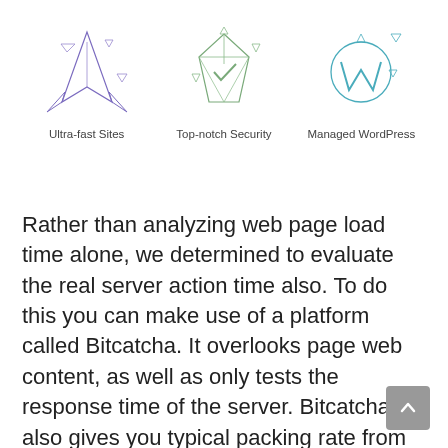[Figure (illustration): Icon of a jet/rocket shape with geometric lines, labeled Ultra-fast Sites]
[Figure (illustration): Icon of a gemstone/shield with a checkmark, labeled Top-notch Security]
[Figure (illustration): Icon of the WordPress logo (W in circle), labeled Managed WordPress]
Rather than analyzing web page load time alone, we determined to evaluate the real server action time also. To do this you can make use of a platform called Bitcatcha. It overlooks page web content, as well as only tests the response time of the server. Bitcatcha also gives you typical packing rate from different international areas. The speed for each place is gauged three different times, and afterwards the outcomes are averaged.